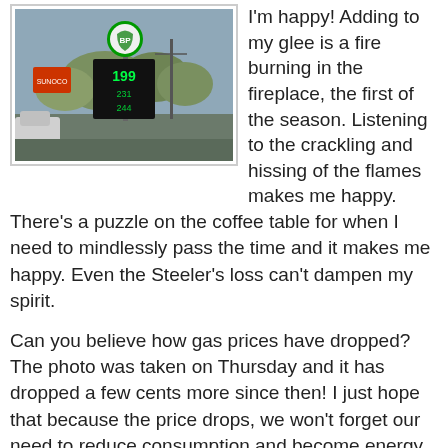[Figure (photo): A BP gas station sign showing gas price of 1.99, with other signage and a car visible, trees in background at dusk/overcast sky.]
I'm happy! Adding to my glee is a fire burning in the fireplace, the first of the season. Listening to the crackling and hissing of the flames makes me happy. There's a puzzle on the coffee table for when I need to mindlessly pass the time and it makes me happy. Even the Steeler's loss can't dampen my spirit.
Can you believe how gas prices have dropped? The photo was taken on Thursday and it has dropped a few cents more since then! I just hope that because the price drops, we won't forget our need to reduce consumption and become energy independent.
Let me tell you about my weekend…
I spent yesterday cleaning up poop! My daughter's 4-H club, as a fund raiser, had poop and pick patrol at a large dog